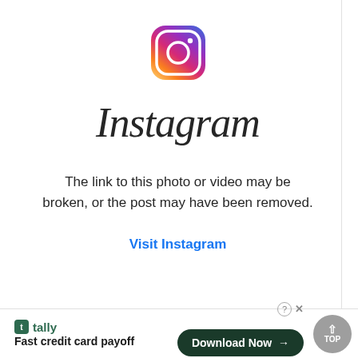[Figure (logo): Instagram app icon: rounded square with gradient border (pink to orange), white inner rounded square, white circle outline, white dot in top-right corner]
Instagram
The link to this photo or video may be broken, or the post may have been removed.
Visit Instagram
[Figure (infographic): Bottom advertisement bar: Tally app logo and name on left, tagline 'Fast credit card payoff', Download Now button, TOP scroll button on right]